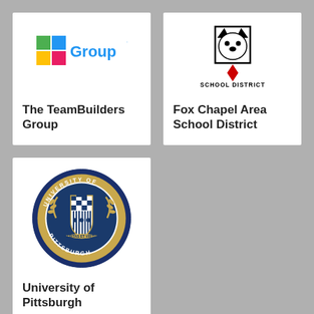[Figure (logo): The TeamBuilders Group logo - colored squares icon with 'Group' text]
The TeamBuilders Group
[Figure (logo): Fox Chapel Area School District logo - bear head icon with SCHOOL DISTRICT text]
Fox Chapel Area School District
[Figure (logo): University of Pittsburgh circular seal with blue and gold colors]
University of Pittsburgh